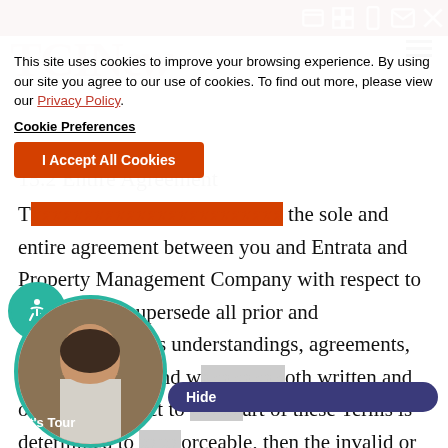Top navigation bar with dark red background
This site uses cookies to improve your browsing experience. By using our site you agree to our use of cookies. To find out more, please view our Privacy Policy.
Cookie Preferences
I Accept All Cookies
15.2 Entire Agreement
T... the sole and entire agreement between you and Entrata and Property Management Company with respect to the Site, and supersede all prior and contemporaneous understandings, agreements, representations and w... oth written and oral, with respect to art of these Terms is determined to ... orceable, then the invalid or u... provision will be deemed superseded by a valid, enforceable provision that most closely